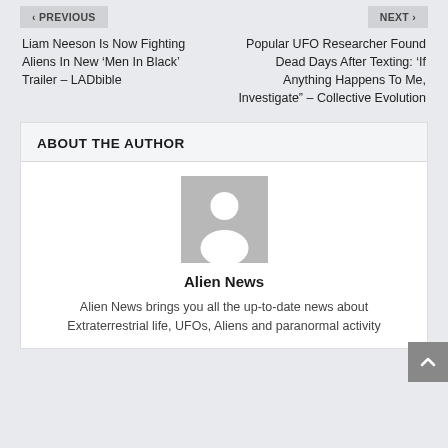< PREVIOUS
NEXT >
Liam Neeson Is Now Fighting Aliens In New ‘Men In Black’ Trailer – LADbible
Popular UFO Researcher Found Dead Days After Texting: ‘If Anything Happens To Me, Investigate” – Collective Evolution
ABOUT THE AUTHOR
[Figure (illustration): Generic user avatar placeholder image - grey square with white silhouette of a person]
Alien News
Alien News brings you all the up-to-date news about Extraterrestrial life, UFOs, Aliens and paranormal activity